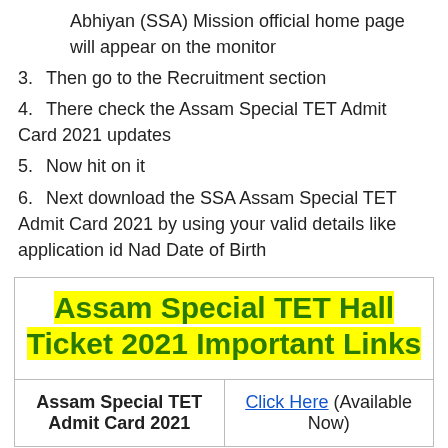Abhiyan (SSA) Mission official home page will appear on the monitor
3. Then go to the Recruitment section
4. There check the Assam Special TET Admit Card 2021 updates
5. Now hit on it
6. Next download the SSA Assam Special TET Admit Card 2021 by using your valid details like application id Nad Date of Birth
| Assam Special TET Hall Ticket 2021 Important Links |  |
| --- | --- |
| Assam Special TET Admit Card 2021 | Click Here (Available Now) |